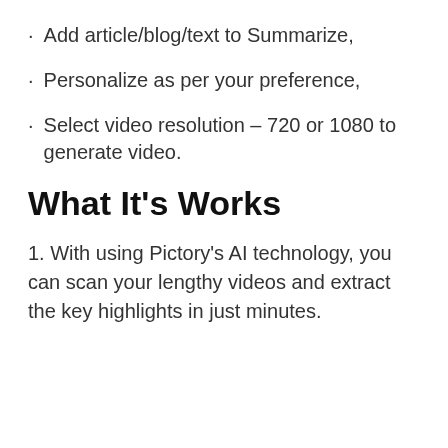Add article/blog/text to Summarize,
Personalize as per your preference,
Select video resolution – 720 or 1080 to generate video.
What It's Works
1. With using Pictory's AI technology, you can scan your lengthy videos and extract the key highlights in just minutes.